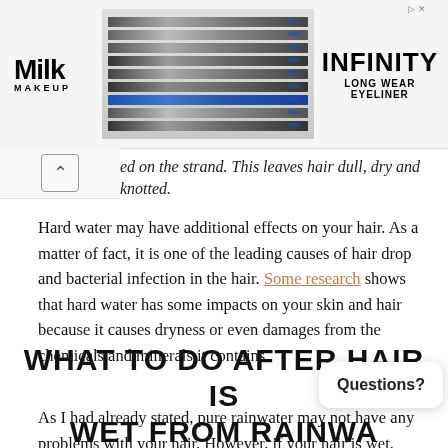[Figure (photo): Advertisement banner for Milk Makeup Infinity Long Wear Eyeliner, showing the Milk Makeup logo on the left, a stack of eyeliner pencils in the center, and the text INFINITY LONG WEAR EYELINER on the right.]
ed on the strand. This leaves hair dull, dry and knotted.
Hard water may have additional effects on your hair. As a matter of fact, it is one of the leading causes of hair drop and bacterial infection in the hair. Some research shows that hard water has some impacts on your skin and hair because it causes dryness or even damages from the chemicals and minerals it contains.
WHAT TO DO AFTER HAIR IS WET FROM RAINWA...
As I had already stated, pure rainwater may not have any problems with your hair. However, if your hair is wet, there are